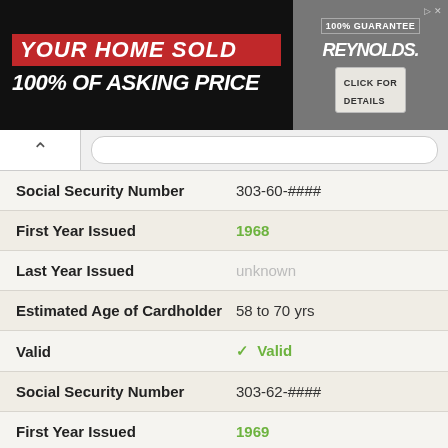[Figure (screenshot): Advertisement banner: YOUR HOME SOLD 100% OF ASKING PRICE with Reynolds team branding and Click For Details button]
| Field | Value |
| --- | --- |
| Social Security Number | 303-60-#### |
| First Year Issued | 1968 |
| Last Year Issued | unknown |
| Estimated Age of Cardholder | 58 to 70 yrs |
| Valid | Valid |
| Social Security Number | 303-62-#### |
| First Year Issued | 1969 |
| Last Year Issued | unknown |
| Estimated Age of Cardholder | 67 to 69 yrs |